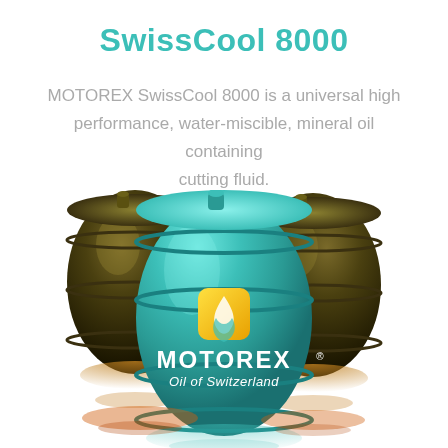SwissCool 8000
MOTOREX SwissCool 8000 is a universal high performance, water-miscible, mineral oil containing cutting fluid.
[Figure (photo): Three industrial drums, the main one in teal/turquoise with MOTOREX Oil of Switzerland logo and a flame/droplet emblem, flanked by two dark olive/brown drums, with reflections at the base.]